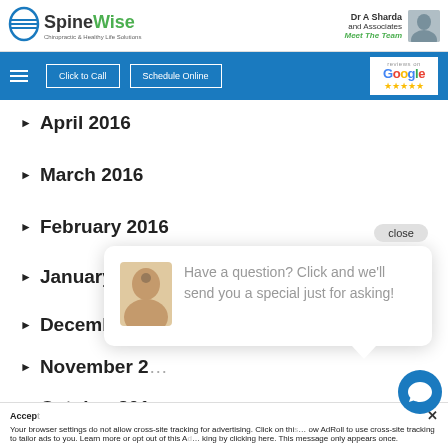[Figure (screenshot): SpineWise website header with logo on left, Dr A Sharda and Associates with Meet The Team link and doctor photo on right]
[Figure (screenshot): Blue navigation bar with hamburger menu, Click to Call button, Schedule Online button, and Google rating badge]
April 2016
March 2016
February 2016
January 2016
December 2...
November 2...
October 201...
September 2015
[Figure (screenshot): Chat popup with close button, avatar image of woman with headset, text: Have a question? Click and we'll send you a special just for asking!]
Accept  ×
Your browser settings do not allow cross-site tracking for advertising. Click on thi... ow AdRoll to use cross-site tracking to tailor ads to you. Learn more or opt out of this A... king by clicking here. This message only appears once.